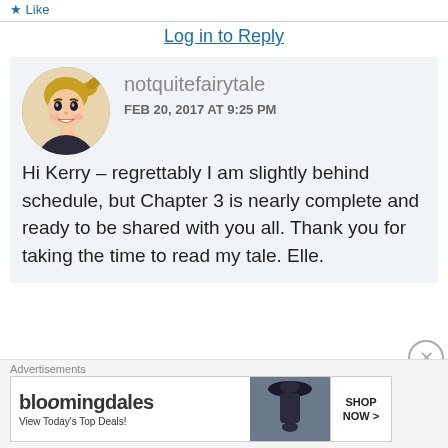Like
Log in to Reply
[Figure (illustration): Cartoon avatar of a blonde woman with ponytail, wearing dark clothing, posed with hand near face]
notquitefairytale
FEB 20, 2017 AT 9:25 PM
Hi Kerry – regrettably I am slightly behind schedule, but Chapter 3 is nearly complete and ready to be shared with you all. Thank you for taking the time to read my tale. Elle.
Advertisements
[Figure (screenshot): Bloomingdale's advertisement banner with logo, 'View Today's Top Deals!', woman with hat, and 'SHOP NOW >' button]